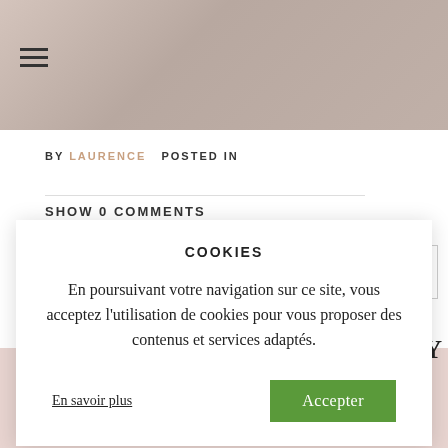[Figure (photo): Photo of a person sitting, partially visible at top of page]
BY LAURENCE POSTED IN
SHOW 0 COMMENTS
COOKIES
En poursuivant votre navigation sur ce site, vous acceptez l'utilisation de cookies pour vous proposer des contenus et services adaptés.
En savoir plus   Accepter
OUDRAY
06.50.74.84.40